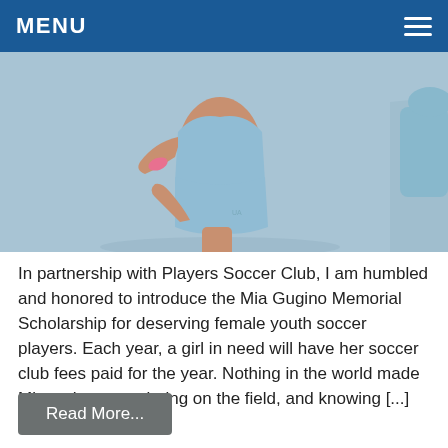MENU
[Figure (photo): A female soccer player running, wearing light blue shorts and a light blue shirt with a pink armband, Under Armour logo visible on shorts, against a light blue-grey background.]
In partnership with Players Soccer Club, I am humbled and honored to introduce the Mia Gugino Memorial Scholarship for deserving female youth soccer players. Each year, a girl in need will have her soccer club fees paid for the year. Nothing in the world made Mia as happy as being on the field, and knowing [...]
Read More...